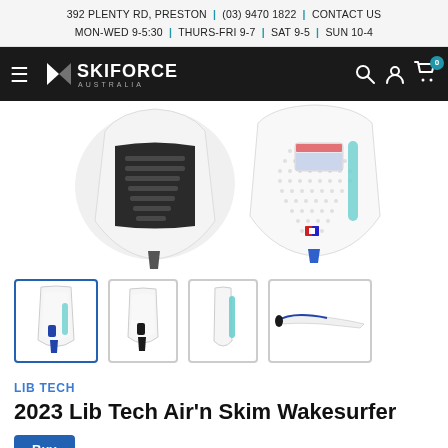392 PLENTY RD, PRESTON | (03) 9470 1822 | CONTACT US
MON-WED 9-5:30 | THURS-FRI 9-7 | SAT 9-5 | SUN 10-4
[Figure (logo): Ski Force Australia logo on dark navigation bar with hamburger menu, search icon, user icon and cart icon showing 0 items]
[Figure (photo): 2023 Lib Tech Air'n Skim Wakesurfer board shown from top and bottom views, white board with black traction pad and blue/teal design elements]
[Figure (photo): Four thumbnail images of the Lib Tech Air'n Skim Wakesurfer from different angles: front view selected (blue border), top angled view, side fin view, and side profile view]
LIB TECH
2023 Lib Tech Air'n Skim Wakesurfer